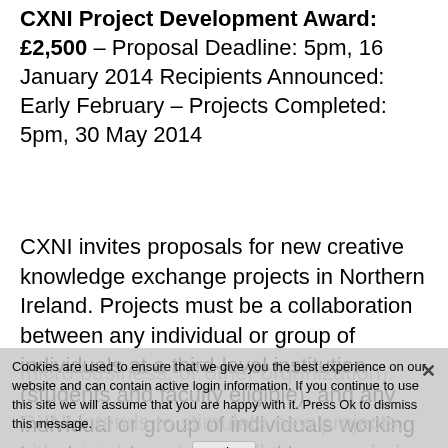CXNI Project Development Award: £2,500 – Proposal Deadline: 5pm, 16 January 2014 Recipients Announced: Early February – Projects Completed: 5pm, 30 May 2014
CXNI invites proposals for new creative knowledge exchange projects in Northern Ireland. Projects must be a collaboration between any individual or group of individuals at a third-level institution (students and faculty eligible), and any individual or group of individuals working in industry (as a solo practitioner, micro business, or other organization).
CXNI intends to stimulate new projects, either implemented in full or as proof of concept.
Collaborations already in full development will not be eligible under this scheme. Preference may be